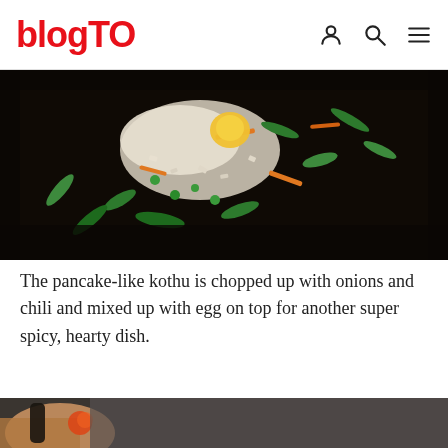blogTO
[Figure (photo): Close-up of kothu dish being cooked on a griddle — chopped flatbread pieces mixed with green vegetables, carrots, egg, and spices on a dark hot plate.]
The pancake-like kothu is chopped up with onions and chili and mixed up with egg on top for another super spicy, hearty dish.
[Figure (photo): Partially visible photo of a hand holding something, with a VoxBox advertisement banner overlay reading: C'MON DOWN & SPEAK YOUR MIND — VoxBox — SING • PLAY • RANT • CONFESS • APOLOGIZE • SELL…or just tell us a good joke!]